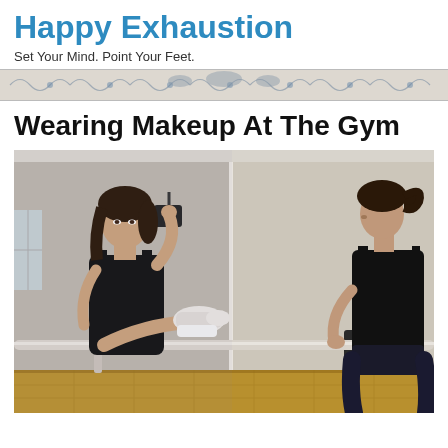Happy Exhaustion
Set Your Mind. Point Your Feet.
[Figure (illustration): Decorative floral/scroll banner divider]
Wearing Makeup At The Gym
[Figure (photo): Woman in black workout clothes at a ballet barre, applying mascara while looking in a mirror. On the right side, another view shows her from behind also in black workout clothes with a ponytail. The scene is in a ballet/dance studio with wooden floors and a mirror-lined wall.]